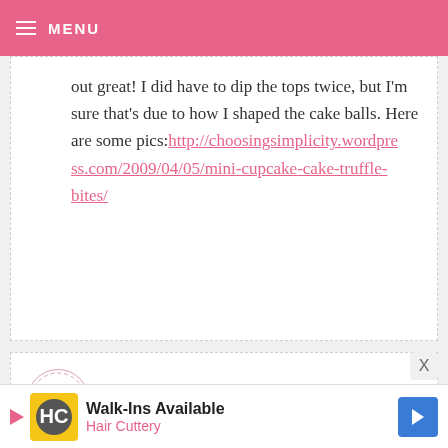MENU
out great! I did have to dip the tops twice, but I'm sure that's due to how I shaped the cake balls. Here are some pics: http://choosingsimplicity.wordpress.com/2009/04/05/mini-cupcake-cake-truffle-bites/
NATASHA — APRIL 5, 2009 @ 6:41 AM REPLY
I already bought some after originally seeing your post with the smiley face